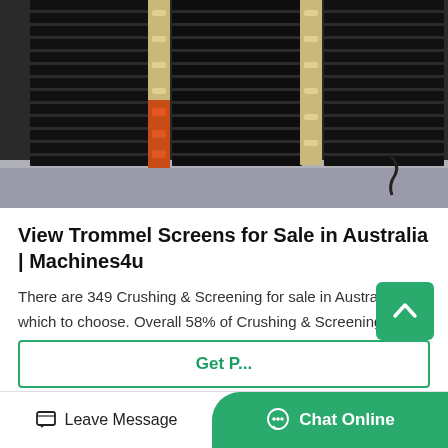[Figure (photo): Stacked black trommel screen panels with cream/yellow and orange connector pieces, photographed in a warehouse or industrial setting.]
View Trommel Screens for Sale in Australia | Machines4u
There are 349 Crushing & Screening for sale in Australia from which to choose. Overall 58% of Crushing & Screening buyers enquire on only used listings, 40% on new and 6.85% on both ne
Get P...
Leave Message
Chat Online